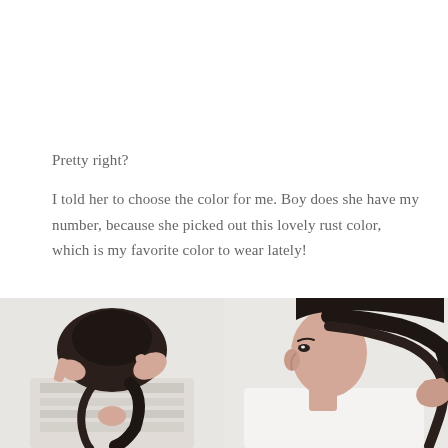Pretty right?
I told her to choose the color for me. Boy does she have my number, because she picked out this lovely rust color, which is my favorite color to wear lately!
[Figure (photo): Woman with dark hair being pulled up into a ponytail/updo, seen from behind/side, wearing a striped top, white background]
[Figure (photo): Woman with dark hair in a low ponytail, seen from the side, holding hair tie, wearing white top, white background]